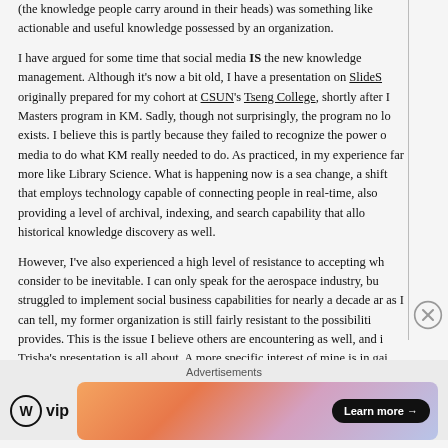(the knowledge people carry around in their heads) was something like actionable and useful knowledge possessed by an organization.
I have argued for some time that social media IS the new knowledge management. Although it's now a bit old, I have a presentation on SlideS originally prepared for my cohort at CSUN's Tseng College, shortly after I Masters program in KM. Sadly, though not surprisingly, the program no lo exists. I believe this is partly because they failed to recognize the power o media to do what KM really needed to do. As practiced, in my experience far more like Library Science. What is happening now is a sea change, a shift that employs technology capable of connecting people in real-time, also providing a level of archival, indexing, and search capability that allo historical knowledge discovery as well.
However, I've also experienced a high level of resistance to accepting wh consider to be inevitable. I can only speak for the aerospace industry, bu struggled to implement social business capabilities for nearly a decade ar as I can tell, my former organization is still fairly resistant to the possibiliti provides. This is the issue I believe others are encountering as well, and i Trisha's presentation is all about. A more specific interest of mine is in gai acceptance from the group of people who will be retiring within the nex
Advertisements
[Figure (other): WordPress VIP logo and an advertisement banner with a 'Learn more' button on a gradient orange-pink-blue background]